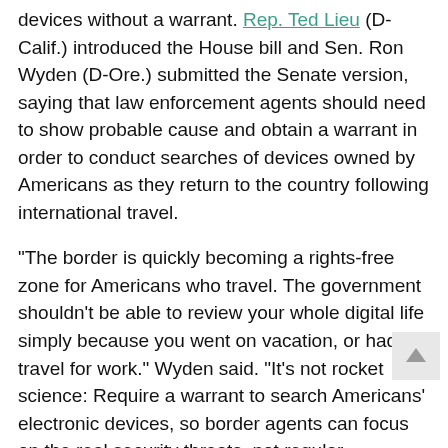devices without a warrant. Rep. Ted Lieu (D-Calif.) introduced the House bill and Sen. Ron Wyden (D-Ore.) submitted the Senate version, saying that law enforcement agents should need to show probable cause and obtain a warrant in order to conduct searches of devices owned by Americans as they return to the country following international travel.
“The border is quickly becoming a rights-free zone for Americans who travel. The government shouldn’t be able to review your whole digital life simply because you went on vacation, or had to travel for work.” Wyden said. “It’s not rocket science: Require a warrant to search Americans’ electronic devices, so border agents can focus on the real security threats, not regular Americans.”
The introduction of the legislation comes at a time when Congress is paying more and more attention to the growing security and privacy issues associated with technology. Earlier this week, Sen. Josh Hawley (R-Mo.)